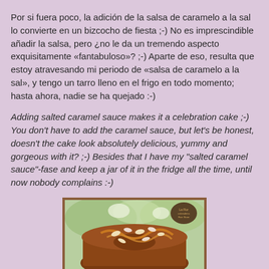Por si fuera poco, la adición de la salsa de caramelo a la sal lo convierte en un bizcocho de fiesta ;-) No es imprescindible añadir la salsa, pero ¿no le da un tremendo aspecto exquisitamente «fantabuloso»? ;-) Aparte de eso, resulta que estoy atravesando mi periodo de «salsa de caramelo a la sal», y tengo un tarro lleno en el frigo en todo momento; hasta ahora, nadie se ha quejado :-)
Adding salted caramel sauce makes it a celebration cake ;-) You don't have to add the caramel sauce, but let's be honest, doesn't the cake look absolutely delicious, yummy and gorgeous with it? ;-) Besides that I have my "salted caramel sauce"-fase and keep a jar of it in the fridge all the time, until now nobody complains :-)
[Figure (photo): Photo of a bundt cake with caramel drizzle and sliced almonds on top, with a blurred outdoor background. Gold/brown border frame around the image.]